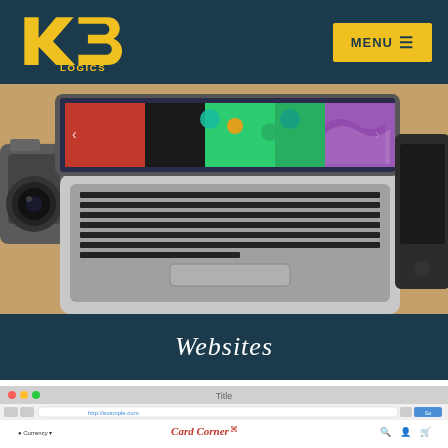[Figure (logo): K3 LOGICS logo in yellow on dark teal background, with MENU hamburger button on the right]
[Figure (photo): Laptop computer on a wooden desk showing a colorful website on screen, with a camera on the left and a tablet/graphic pad on the right]
Websites
[Figure (screenshot): Screenshot of a web browser showing the Card Corner e-commerce website with navigation bar, logo, and greeting card product imagery]